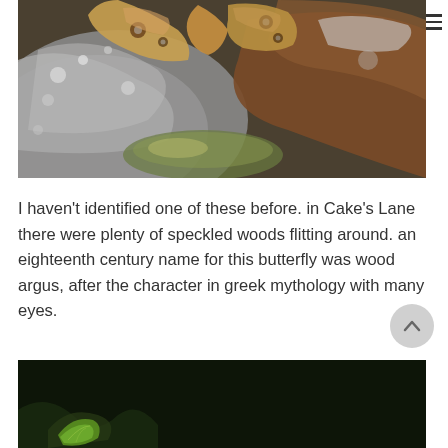[Figure (photo): Close-up photograph of a speckled wood butterfly resting on rocks with mottled grey, white and rust-brown surfaces. The butterfly has orange-brown wings with eye-spot markings.]
I haven't identified one of these before. in Cake's Lane there were plenty of speckled woods flitting around. an eighteenth century name for this butterfly was wood argus, after the character in greek mythology with many eyes.
[Figure (photo): Partial photograph at the bottom of the page showing a dark background with what appears to be a green leaf visible at the bottom left.]